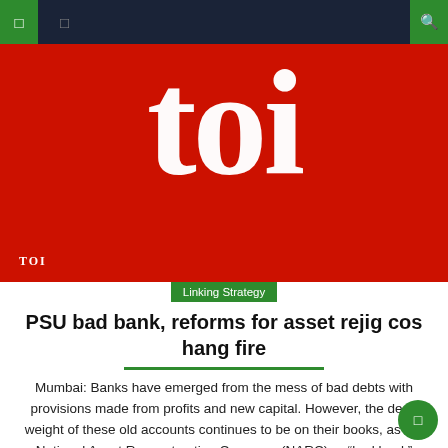TOI navigation bar
[Figure (logo): Times of India (TOI) logo — large white 'toi' text on red background with TOI label at bottom left]
Linking Strategy
PSU bad bank, reforms for asset rejig cos hang fire
Mumbai: Banks have emerged from the mess of bad debts with provisions made from profits and new capital. However, the dead weight of these old accounts continues to be on their books, as the National Asset Reconstruction Company (NARC) or “bad bank” announced in last year’s budget has yet to take off and some proposed [...]